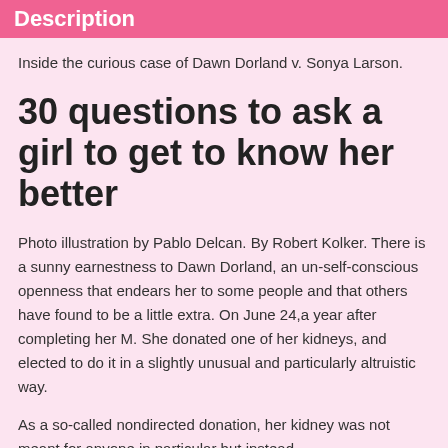Description
Inside the curious case of Dawn Dorland v. Sonya Larson.
30 questions to ask a girl to get to know her better
Photo illustration by Pablo Delcan. By Robert Kolker. There is a sunny earnestness to Dawn Dorland, an un-self-conscious openness that endears her to some people and that others have found to be a little extra. On June 24,a year after completing her M. She donated one of her kidneys, and elected to do it in a slightly unusual and particularly altruistic way.
As a so-called nondirected donation, her kidney was not meant for anyone in particular but instead